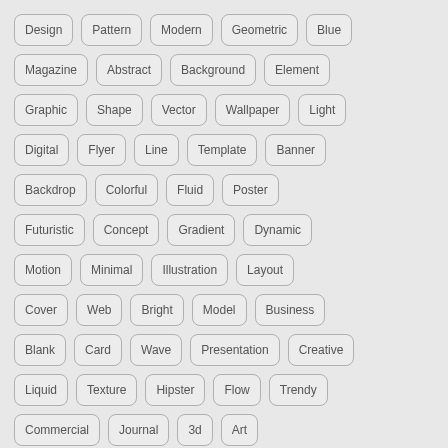Design
Pattern
Modern
Geometric
Blue
Magazine
Abstract
Background
Element
Graphic
Shape
Vector
Wallpaper
Light
Digital
Flyer
Line
Template
Banner
Backdrop
Colorful
Fluid
Poster
Futuristic
Concept
Gradient
Dynamic
Motion
Minimal
Illustration
Layout
Cover
Web
Bright
Model
Business
Blank
Card
Wave
Presentation
Creative
Liquid
Texture
Hipster
Flow
Trendy
Commercial
Journal
3d
Art